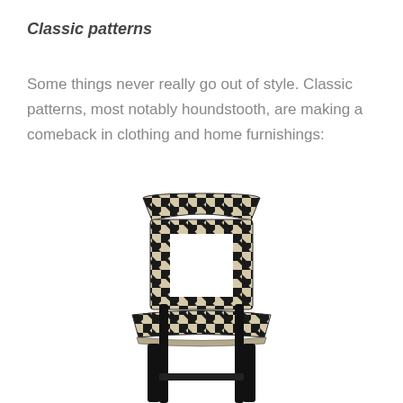Classic patterns
Some things never really go out of style. Classic patterns, most notably houndstooth, are making a comeback in clothing and home furnishings:
[Figure (photo): A chair with a bold black and white houndstooth pattern on the back and seat, with dark black legs.]